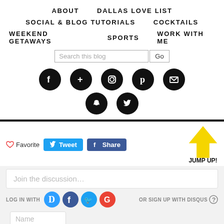ABOUT   DALLAS LOVE LIST   SOCIAL & BLOG TUTORIALS   COCKTAILS   WEEKEND GETAWAYS   SPORTS   WORK WITH ME
[Figure (screenshot): Blog navigation menu with social media icons (Facebook, Google+, Instagram, Pinterest, Email, Snapchat, Twitter), search bar, social share buttons (Favorite, Tweet, Share), JUMP UP! arrow, Disqus comment section with LOG IN WITH and OR SIGN UP WITH DISQUS options]